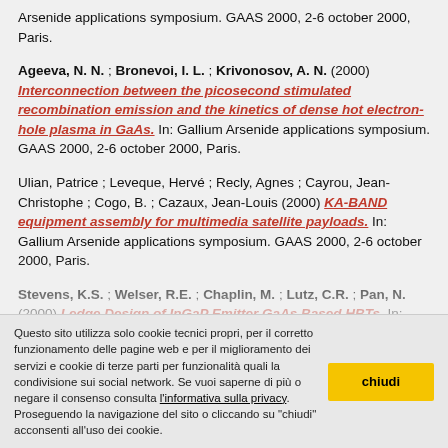Arsenide applications symposium. GAAS 2000, 2-6 october 2000, Paris.
Ageeva, N. N. ; Bronevoi, I. L. ; Krivonosov, A. N. (2000) Interconnection between the picosecond stimulated recombination emission and the kinetics of dense hot electron-hole plasma in GaAs. In: Gallium Arsenide applications symposium. GAAS 2000, 2-6 october 2000, Paris.
Ulian, Patrice ; Leveque, Hervé ; Recly, Agnes ; Cayrou, Jean-Christophe ; Cogo, B. ; Cazaux, Jean-Louis (2000) KA-BAND equipment assembly for multimedia satellite payloads. In: Gallium Arsenide applications symposium. GAAS 2000, 2-6 october 2000, Paris.
Stevens, K.S. ; Welser, R.E. ; Chaplin, M. ; Lutz, C.R. ; Pan, N. (2000) Ledge Design of InGaP Emitter GaAs Based HBTs. In: Gallium Arsenide applications symposium. GAAS 2000, 2-6
Questo sito utilizza solo cookie tecnici propri, per il corretto funzionamento delle pagine web e per il miglioramento dei servizi e cookie di terze parti per funzionalità quali la condivisione sui social network. Se vuoi saperne di più o negare il consenso consulta l'informativa sulla privacy. Proseguendo la navigazione del sito o cliccando su "chiudi" acconsenti all'uso dei cookie.